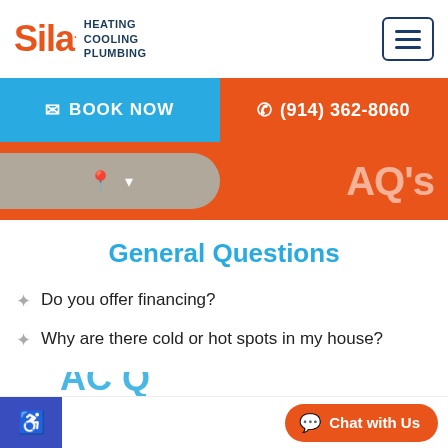Sila Heating Cooling Plumbing
BOOK NOW
(914) 362-8060
[Figure (screenshot): Orange banner with location pill and FAQ's label partially visible]
General Questions
Do you offer financing?
Why are there cold or hot spots in my house?
Chat with Us